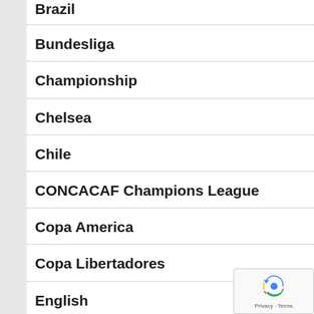Brazil
Bundesliga
Championship
Chelsea
Chile
CONCACAF Champions League
Copa America
Copa Libertadores
English
English Premier League